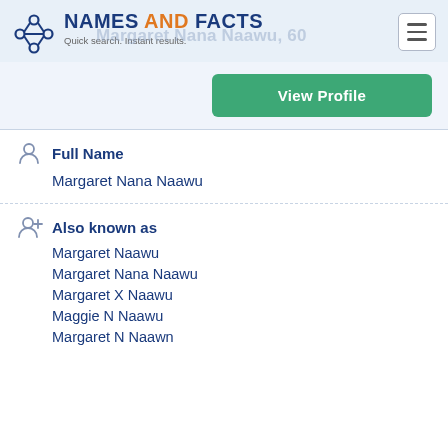NAMES AND FACTS — Quick search. Instant results.
Margaret Nana Naawu, 60
View Profile
Full Name
Margaret Nana Naawu
Also known as
Margaret Naawu
Margaret Nana Naawu
Margaret X Naawu
Maggie N Naawu
Margaret N Naawn